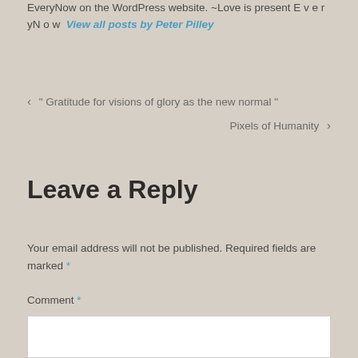EveryNow on the WordPress website. ~Love is present E v e r yN o w  View all posts by Peter Pilley
< " Gratitude for visions of glory as the new normal "
Pixels of Humanity >
Leave a Reply
Your email address will not be published. Required fields are marked *
Comment *